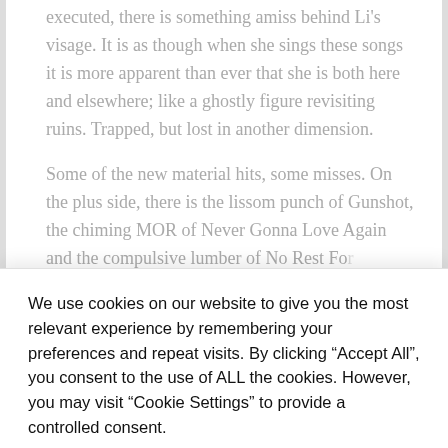executed, there is something amiss behind Li's visage. It is as though when she sings these songs it is more apparent than ever that she is both here and elsewhere; like a ghostly figure revisiting ruins. Trapped, but lost in another dimension.

Some of the new material hits, some misses. On the plus side, there is the lissom punch of Gunshot, the chiming MOR of Never Gonna Love Again and the compulsive lumber of No Rest For...
We use cookies on our website to give you the most relevant experience by remembering your preferences and repeat visits. By clicking “Accept All”, you consent to the use of ALL the cookies. However, you may visit "Cookie Settings" to provide a controlled consent.